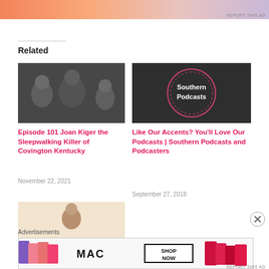[Figure (photo): Top advertisement banner with gradient colors (orange, pink, lavender)]
Related
[Figure (photo): Black and white vintage photo of three people sitting together]
Episode 101 Joan Kiger the Sleepwalking Killer of Covington Kentucky
November 22, 2021
[Figure (logo): Dark background with pink circle outline and white text reading Southern Podcasts]
Like Our Accents? You'll Love Our Podcasts | Southern Podcasts and Podcasters
September 27, 2018
[Figure (photo): Old sepia-toned portrait photo of a person]
Advertisements
[Figure (photo): MAC Cosmetics advertisement showing lipsticks with SHOP NOW text]